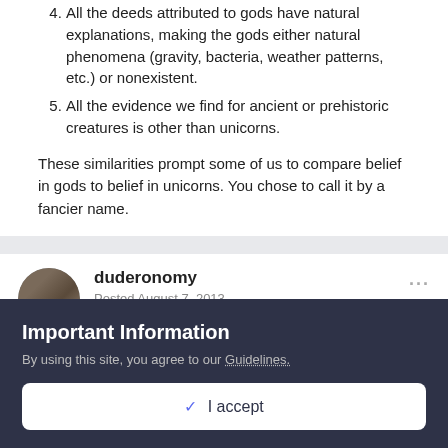4. All the deeds attributed to gods have natural explanations, making the gods either natural phenomena (gravity, bacteria, weather patterns, etc.) or nonexistent.
5. All the evidence we find for ancient or prehistoric creatures is other than unicorns.
These similarities prompt some of us to compare belief in gods to belief in unicorns. You chose to call it by a fancier name.
duderonomy
Posted August 7, 2013
On 8/4/2013 at 11:49 PM, R. S. Martin said:
Important Information
By using this site, you agree to our Guidelines.
✓  I accept